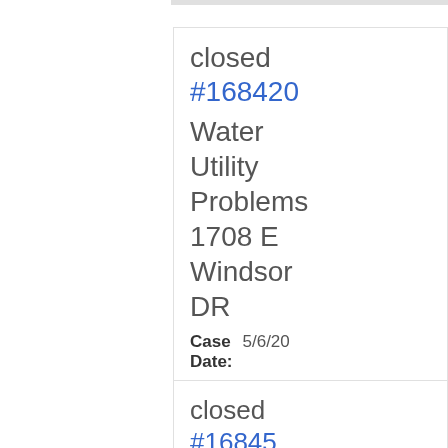closed
#168420
Water Utility Problems
1708 E Windsor DR
Case Date: 5/6/20
Leak at water meter in front yard
closed
#16845...